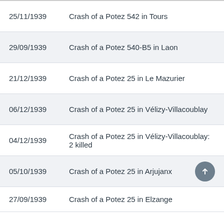25/11/1939    Crash of a Potez 542 in Tours
29/09/1939    Crash of a Potez 540-B5 in Laon
21/12/1939    Crash of a Potez 25 in Le Mazurier
06/12/1939    Crash of a Potez 25 in Vélizy-Villacoublay
04/12/1939    Crash of a Potez 25 in Vélizy-Villacoublay: 2 killed
05/10/1939    Crash of a Potez 25 in Arjujanx
27/09/1939    Crash of a Potez 25 in Elzange